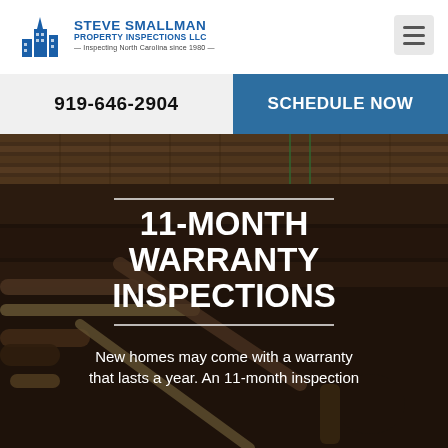[Figure (logo): Steve Smallman Property Inspections LLC logo — building icon in blue with company name and tagline 'Inspecting North Carolina since 1980']
919-646-2904
SCHEDULE NOW
[Figure (photo): Partially visible background photo of an attic/home interior]
[Figure (photo): Background photo showing plumbing pipes with dark overlay]
11-MONTH WARRANTY INSPECTIONS
New homes may come with a warranty that lasts a year. An 11-month inspection